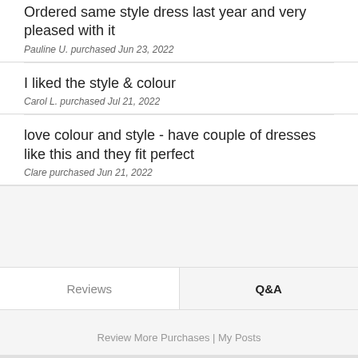Ordered same style dress last year and very pleased with it
Pauline U. purchased Jun 23, 2022
I liked the style & colour
Carol L. purchased Jul 21, 2022
love colour and style - have couple of dresses like this and they fit perfect
Clare purchased Jun 21, 2022
Reviews
Q&A
Review More Purchases | My Posts